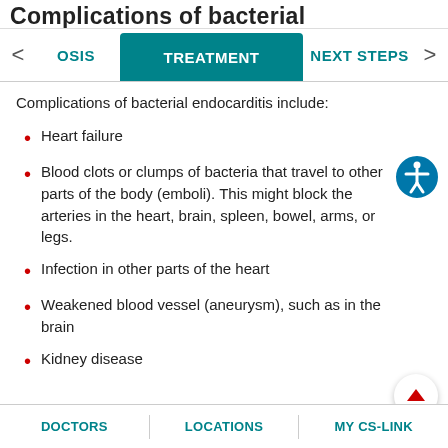Complications of bacterial endocarditis (partial title visible)
TREATMENT (active tab), with OSIS and NEXT STEPS tabs
Complications of bacterial endocarditis include:
Heart failure
Blood clots or clumps of bacteria that travel to other parts of the body (emboli). This might block the arteries in the heart, brain, spleen, bowel, arms, or legs.
Infection in other parts of the heart
Weakened blood vessel (aneurysm), such as in the brain
Kidney disease
DOCTORS   LOCATIONS   MY CS-LINK